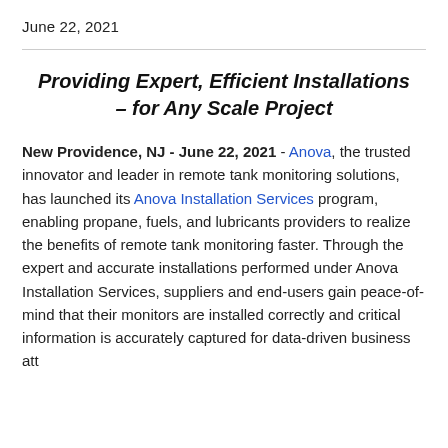June 22, 2021
Providing Expert, Efficient Installations – for Any Scale Project
New Providence, NJ - June 22, 2021 - Anova, the trusted innovator and leader in remote tank monitoring solutions, has launched its Anova Installation Services program, enabling propane, fuels, and lubricants providers to realize the benefits of remote tank monitoring faster. Through the expert and accurate installations performed under Anova Installation Services, suppliers and end-users gain peace-of-mind that their monitors are installed correctly and critical information is accurately captured for data-driven business...